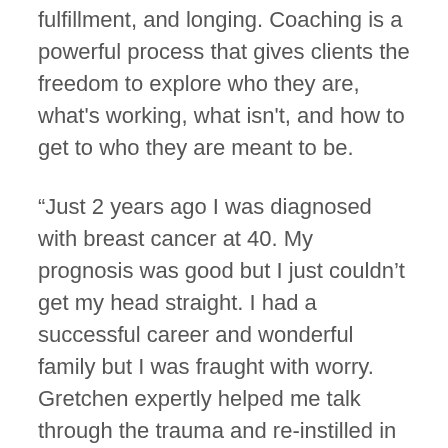fulfillment, and longing. Coaching is a powerful process that gives clients the freedom to explore who they are, what's working, what isn't, and how to get to who they are meant to be.
“Just 2 years ago I was diagnosed with breast cancer at 40. My prognosis was good but I just couldn’t get my head straight. I had a successful career and wonderful family but I was fraught with worry. Gretchen expertly helped me talk through the trauma and re-instilled in me my focus, my productivity…my greatness! If I ever again experience a bump in the road, I won’t hesitate to go to Gretchen for her